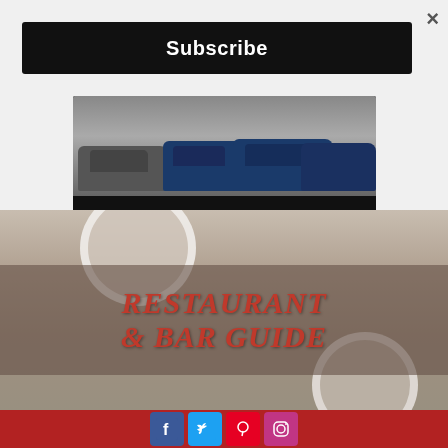×
Subscribe
[Figure (photo): Serra Auto Park advertisement showing cars and logo with text 'Five Great Brands. 1 Convenient Location.' and People Pleasin branding]
[Figure (photo): Restaurant & Bar Guide banner over food/plate background image with italic red text 'RESTAURANT & BAR GUIDE']
[Figure (infographic): Social media footer bar in red with Facebook, Twitter, Pinterest, and Instagram icon buttons]